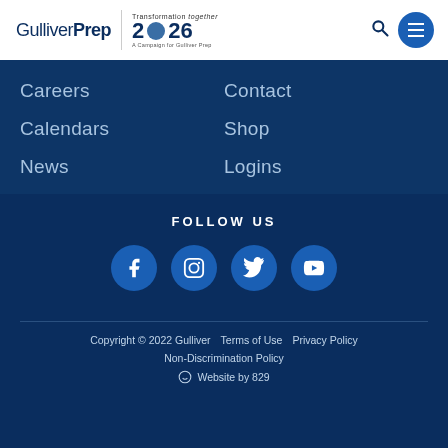[Figure (logo): GulliverPrep logo with Transformation together 2026 campaign logo and navigation icons]
Careers
Contact
Calendars
Shop
News
Logins
FOLLOW US
[Figure (illustration): Social media icons: Facebook, Instagram, Twitter, YouTube in blue circles]
Copyright © 2022 Gulliver   Terms of Use   Privacy Policy   Non-Discrimination Policy   Website by 829